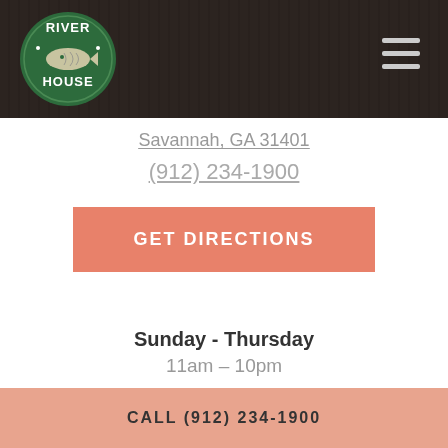[Figure (logo): River House restaurant logo — green oval with fish and text]
Savannah, GA 31401
(912) 234-1900
GET DIRECTIONS
Sunday - Thursday
11am – 10pm
Friday & Saturday
11am – 11pm
CALL (912) 234-1900